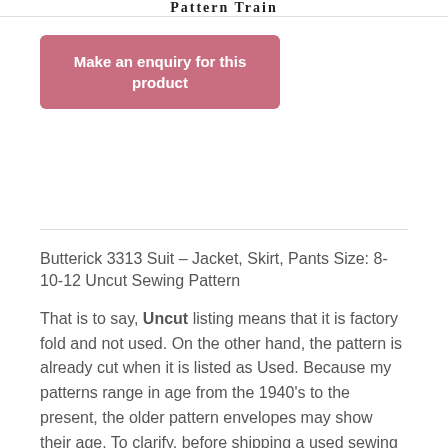Pattern Train
Make an enquiry for this product
Butterick 3313 Suit – Jacket, Skirt, Pants Size: 8-10-12 Uncut Sewing Pattern
That is to say, Uncut listing means that it is factory fold and not used. On the other hand, the pattern is already cut when it is listed as Used. Because my patterns range in age from the 1940's to the present, the older pattern envelopes may show their age. To clarify, before shipping a used sewing pattern, I check that all the pieces and instructions are present. Feel